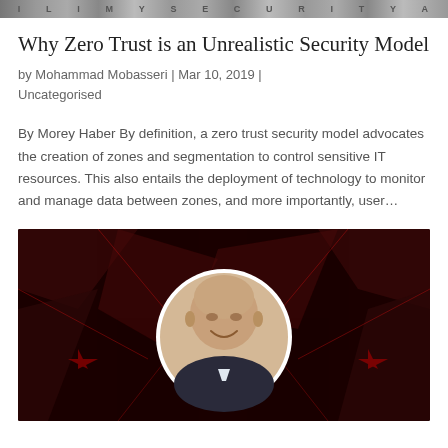header image strip
Why Zero Trust is an Unrealistic Security Model
by Mohammad Mobasseri | Mar 10, 2019 | Uncategorised
By Morey Haber By definition, a zero trust security model advocates the creation of zones and segmentation to control sensitive IT resources. This also entails the deployment of technology to monitor and manage data between zones, and more importantly, user…
[Figure (photo): Dark red abstract background with geometric shapes and a circular portrait photo of a bald smiling man in a dark jacket]